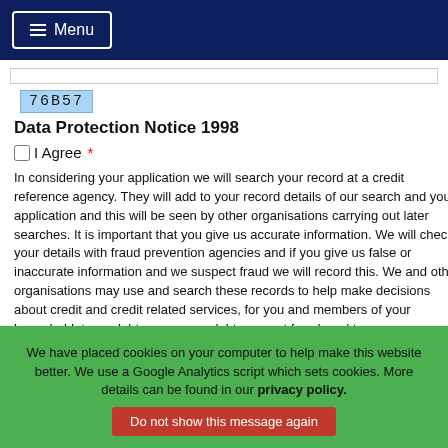Menu
76B57
Data Protection Notice 1998
I Agree *
In considering your application we will search your record at a credit reference agency. They will add to your record details of our search and your application and this will be seen by other organisations carrying out later searches. It is important that you give us accurate information. We will check your details with fraud prevention agencies and if you give us false or inaccurate information and we suspect fraud we will record this. We and other organisations may use and search these records to help make decisions about credit and credit related services, for you and members of your household; trace debtors, recover debt, prevent fraud, and to arrange your accounts or insurance policies; check your identity to prevent money laundering unless you furnish us with other satisfactory proof of identity. You have a right, on payment of fee, to receive a copy of the information we hold about you if you apply to us in writing. We may pass on your details to other companies to send
We have placed cookies on your computer to help make this website better. We use a Google Analytics script which sets cookies. More details can be found in our privacy policy.
Do not show this message again